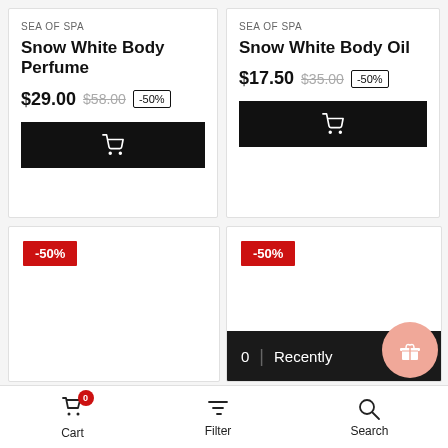SEA OF SPA
Snow White Body Perfume
$29.00  $58.00  -50%
[Figure (screenshot): Black add to cart button with shopping cart icon]
SEA OF SPA
Snow White Body Oil
$17.50  $35.00  -50%
[Figure (screenshot): Black add to cart button with shopping cart icon]
[Figure (screenshot): Product card with -50% red badge, bottom portion of page]
[Figure (screenshot): Product card with -50% red badge, recently viewed bar, gift button]
Cart  Filter  Search